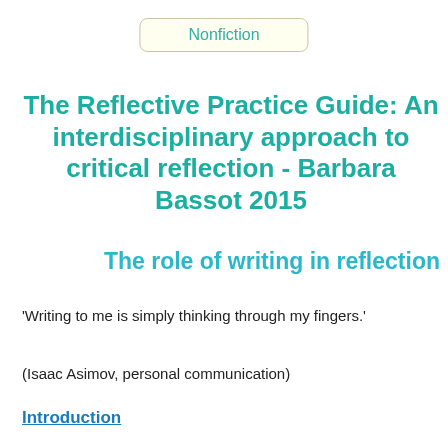Nonfiction
The Reflective Practice Guide: An interdisciplinary approach to critical reflection - Barbara Bassot 2015
The role of writing in reflection
'Writing to me is simply thinking through my fingers.'
(Isaac Asimov, personal communication)
Introduction